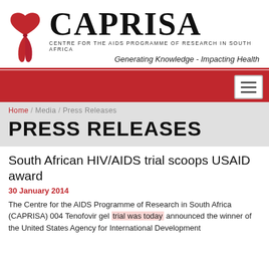[Figure (logo): CAPRISA logo with red AIDS ribbon on the left and 'CAPRISA' large text on the right, with subtitle 'Centre for the AIDS Programme of Research in South Africa' and tagline 'Generating Knowledge - Impacting Health']
Home / Media / Press Releases
PRESS RELEASES
South African HIV/AIDS trial scoops USAID award
30 January 2014
The Centre for the AIDS Programme of Research in South Africa (CAPRISA) 004 Tenofovir gel trial was today announced the winner of the United States Agency for International Development